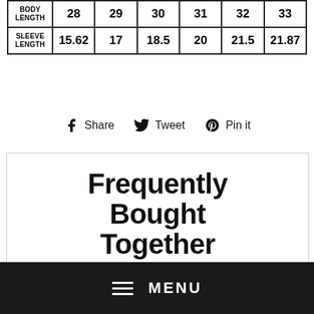|  | 28 | 29 | 30 | 31 | 32 | 33 |
| --- | --- | --- | --- | --- | --- | --- |
| BODY LENGTH | 28 | 29 | 30 | 31 | 32 | 33 |
| SLEEVE LENGTH | 15.62 | 17 | 18.5 | 20 | 21.5 | 21.87 |
Share   Tweet   Pin it
Frequently Bought Together
[Figure (other): Product images (mountain/landscape silhouettes) shown at the bottom of the Frequently Bought Together section]
MENU